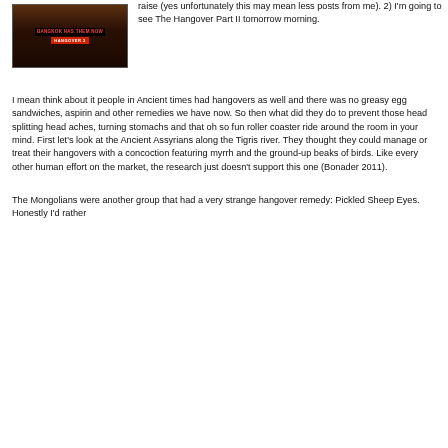[Figure (photo): Movie promotional image for 'The Hangover Part II' showing Bangkok setting with text 'BANGKOK HAS THEM NOW' and red subtitle text]
raise (yes unfortunately this may mean less posts from me). 2) I'm going to see The Hangover Part II tomorrow morning.
I mean think about it people in Ancient times had hangovers as well and there was no greasy egg sandwiches, aspirin and other remedies we have now. So then what did they do to prevent those head splitting head aches, turning stomachs and that oh so fun roller coaster ride around the room in your mind. First let's look at the Ancient Assyrians along the Tigris river. They thought they could manage or treat their hangovers with a concoction featuring myrrh and the ground-up beaks of birds. Like every other human effort on the market, the research just doesn't support this one (Bonader 2011).
The Mongolians were another group that had a very strange hangover remedy: Pickled Sheep Eyes. Honestly I'd rather